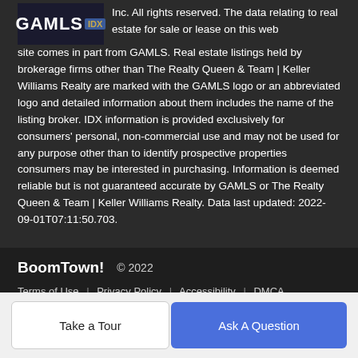[Figure (logo): GAMLS IDX logo — white text on dark blue background with gold/blue IDX badge]
Inc. All rights reserved. The data relating to real estate for sale or lease on this web site comes in part from GAMLS. Real estate listings held by brokerage firms other than The Realty Queen & Team | Keller Williams Realty are marked with the GAMLS logo or an abbreviated logo and detailed information about them includes the name of the listing broker. IDX information is provided exclusively for consumers' personal, non-commercial use and may not be used for any purpose other than to identify prospective properties consumers may be interested in purchasing. Information is deemed reliable but is not guaranteed accurate by GAMLS or The Realty Queen & Team | Keller Williams Realty. Data last updated: 2022-09-01T07:11:50.703.
BoomTown! © 2022 Terms of Use | Privacy Policy | Accessibility | DMCA | Listings Sitemap
Take a Tour
Ask A Question